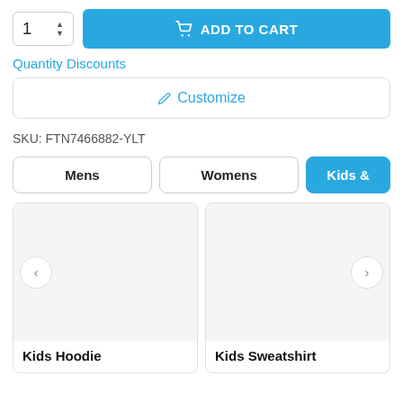[Figure (screenshot): Quantity selector box showing '1' with up/down arrows]
[Figure (screenshot): Blue 'ADD TO CART' button with shopping cart icon]
Quantity Discounts
✏ Customize
SKU: FTN7466882-YLT
Mens
Womens
Kids &
Kids Hoodie
Kids Sweatshirt